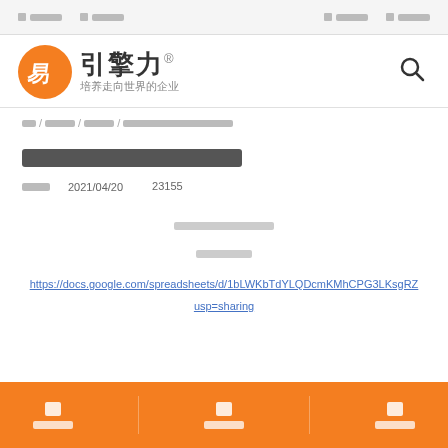[nav items] [nav items] [nav items] [nav items]
[Figure (logo): 引擎力 logo - orange circle with stylized E/易 character, Chinese text 引擎力® with subtitle 培养走向世界的企业]
首页 / 资讯中心 / 营销知识 / [article breadcrumb title]
[Article title in Chinese characters - redacted]
营销知识    2021/04/20    ¥23155
[content block line 1]
[content block line 2]
https://docs.google.com/spreadsheets/d/1bLWKbTdYLQDcmKMhCPG3LKsgRZ... usp=sharing
[icon] [label] | [icon] [label] | [icon] [label]